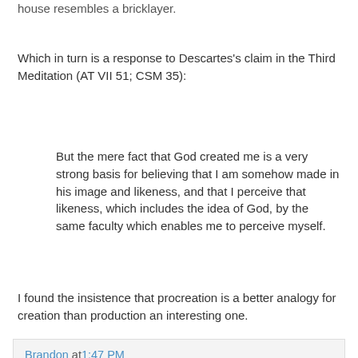house resembles a bricklayer.
Which in turn is a response to Descartes's claim in the Third Meditation (AT VII 51; CSM 35):
But the mere fact that God created me is a very strong basis for believing that I am somehow made in his image and likeness, and that I perceive that likeness, which includes the idea of God, by the same faculty which enables me to perceive myself.
I found the insistence that procreation is a better analogy for creation than production an interesting one.
Brandon at 1:47 PM